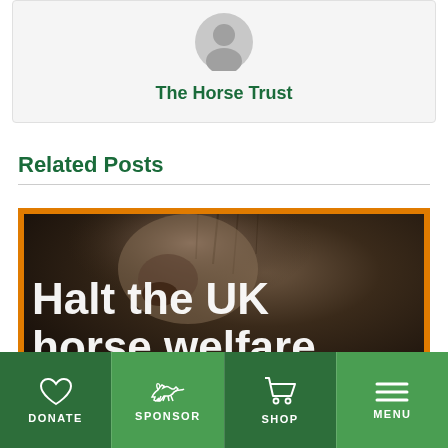[Figure (illustration): Gray circular avatar/profile placeholder icon]
The Horse Trust
Related Posts
[Figure (photo): Close-up of a horse's nose/face with orange border frame and white bold text overlay reading 'Halt the UK horse welfare crisis for good']
DONATE | SPONSOR | SHOP | MENU